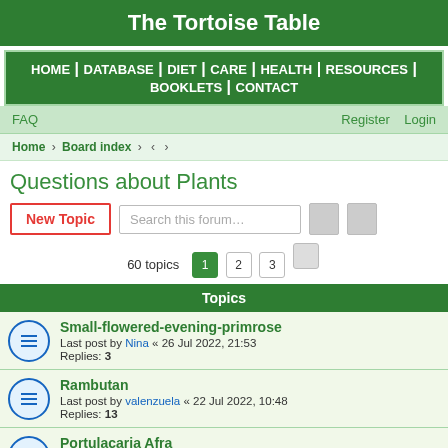The Tortoise Table
HOME | DATABASE | DIET | CARE | HEALTH | RESOURCES | BOOKLETS | CONTACT
FAQ    Register    Login
Home › Board index › ‹ ›
Questions about Plants
New Topic   Search this forum…   60 topics  1  2  3
Topics
Small-flowered-evening-primrose
Last post by Nina « 26 Jul 2022, 21:53
Replies: 3
Rambutan
Last post by valenzuela « 22 Jul 2022, 10:48
Replies: 13
Portulacaria Afra
Last post by Sasuke2690 « 21 Jul 2022, 05:31
Replies: 6
Mimulus